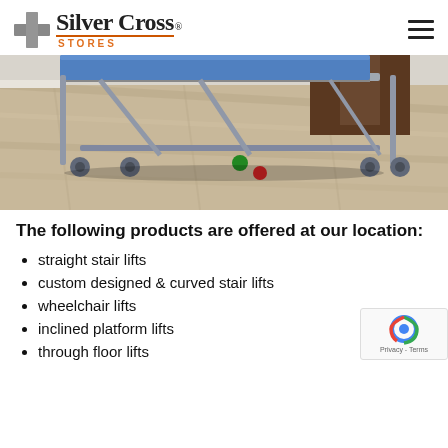Silver Cross STORES
[Figure (photo): Hospital bed with metal frame and wheels on light wood-grain floor, with blue mattress and dark wooden headboard.]
The following products are offered at our location:
straight stair lifts
custom designed & curved stair lifts
wheelchair lifts
inclined platform lifts
through floor lifts